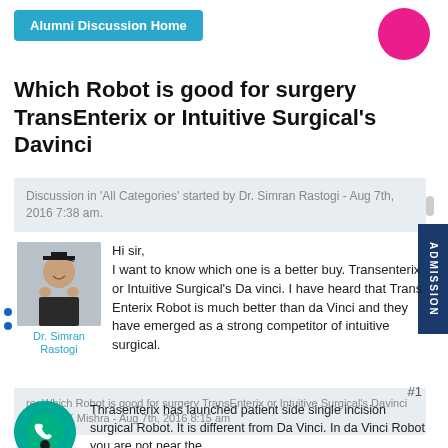Alumni Discussion Home
Which Robot is good for surgery TransEnterix or Intuitive Surgical's Davinci
Discussion in 'All Categories' started by Dr. Simran Rastogi - Aug 7th, 2016 7:38 am.
Hi sir,
I want to know which one is a better buy. Transenterix or Intuitive Surgical's Da vinci. I have heard that Trans Enterix Robot is much better than da Vinci and they have emerged as a strong competitor of intuitive surgical.
re: Which Robot is good for surgery TransEnterix or Intuitive Surgical's Davinci by Dr R K Mishra - Aug 7th, 2016 8:15 am
Thrasenterix has launched patient side single incision surgical Robot. It is different from Da Vinci. In da Vinci Robot you are not near the